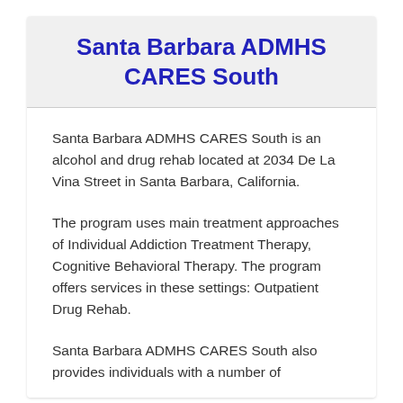Santa Barbara ADMHS CARES South
Santa Barbara ADMHS CARES South is an alcohol and drug rehab located at 2034 De La Vina Street in Santa Barbara, California.
The program uses main treatment approaches of Individual Addiction Treatment Therapy, Cognitive Behavioral Therapy. The program offers services in these settings: Outpatient Drug Rehab.
Santa Barbara ADMHS CARES South also provides individuals with a number of